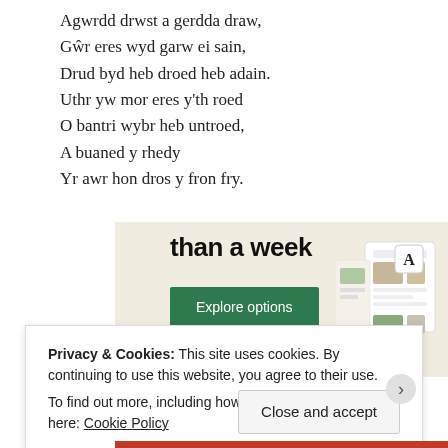Agwrdd drwst a gerdda draw,
Gŵr eres wyd garw ei sain,
Drud byd heb droed heb adain.
Uthr yw mor eres y'th roed
O bantri wybr heb untroed,
A buaned y rhedy
Yr awr hon dros y fron fry.
[Figure (screenshot): Advertisement banner with text 'than a week', green 'Explore options' button, and app/website screenshots on a beige background.]
Privacy & Cookies: This site uses cookies. By continuing to use this website, you agree to their use.
To find out more, including how to control cookies, see here: Cookie Policy